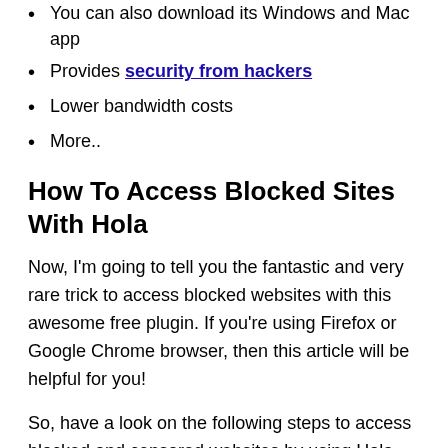You can also download its Windows and Mac app
Provides security from hackers
Lower bandwidth costs
More..
How To Access Blocked Sites With Hola
Now, I'm going to tell you the fantastic and very rare trick to access blocked websites with this awesome free plugin. If you're using Firefox or Google Chrome browser, then this article will be helpful for you!
So, have a look on the following steps to access blocked and censored websites by using Hola Unblocker-